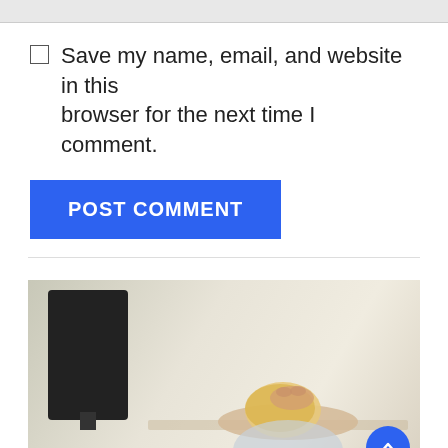Save my name, email, and website in this browser for the next time I comment.
POST COMMENT
[Figure (photo): A person with blonde hair slumped forward with head down on a desk, face hidden in hands, next to a black computer monitor. Background is blurred/light colored.]